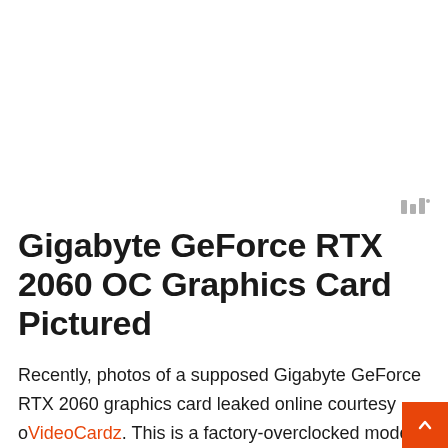[Figure (other): Advertisement or blank area at top of page]
Gigabyte GeForce RTX 2060 OC Graphics Card Pictured
Recently, photos of a supposed Gigabyte GeForce RTX 2060 graphics card leaked online courtesy of VideoCardz. This is a factory-overclocked model but the exact clock speeds are not confirmed yet.